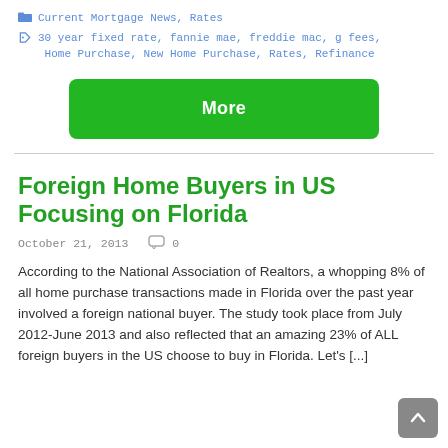Current Mortgage News, Rates
30 year fixed rate, fannie mae, freddie mac, g fees, Home Purchase, New Home Purchase, Rates, Refinance
More
Foreign Home Buyers in US Focusing on Florida
October 21, 2013  0
According to the National Association of Realtors, a whopping 8% of all home purchase transactions made in Florida over the past year involved a foreign national buyer. The study took place from July 2012-June 2013 and also reflected that an amazing 23% of ALL foreign buyers in the US choose to buy in Florida. Let's [...]